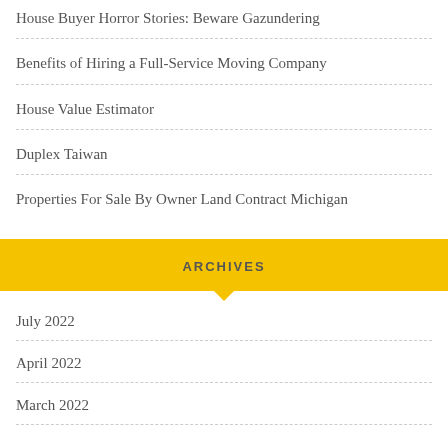House Buyer Horror Stories: Beware Gazundering
Benefits of Hiring a Full-Service Moving Company
House Value Estimator
Duplex Taiwan
Properties For Sale By Owner Land Contract Michigan
ARCHIVES
July 2022
April 2022
March 2022